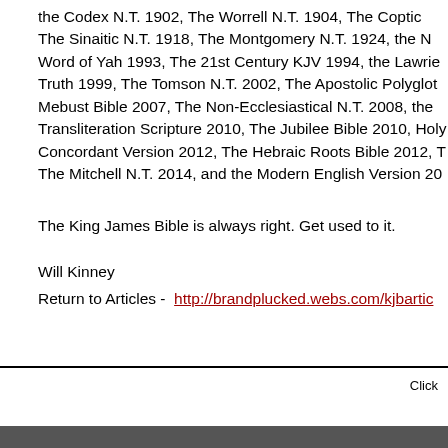the Codex N.T. 1902, The Worrell N.T. 1904, The Coptic The Sinaitic N.T. 1918, The Montgomery N.T. 1924, the N Word of Yah 1993, The 21st Century KJV 1994, the Lawrie Truth 1999, The Tomson N.T. 2002, The Apostolic Polyglot Mebust Bible 2007, The Non-Ecclesiastical N.T. 2008, the Transliteration Scripture 2010, The Jubilee Bible 2010, Holy Concordant Version 2012, The Hebraic Roots Bible 2012, T The Mitchell N.T. 2014, and the Modern English Version 20
The King James Bible is always right. Get used to it.
Will Kinney
Return to Articles -  http://brandplucked.webs.com/kjbartic
Click